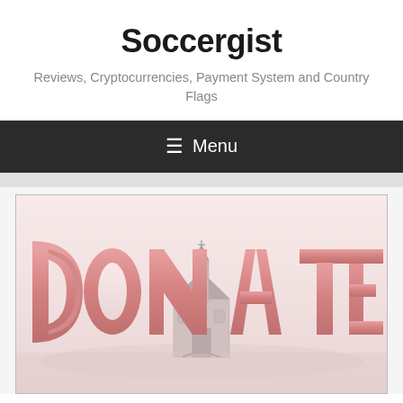Soccergist
Reviews, Cryptocurrencies, Payment System and Country Flags
≡ Menu
[Figure (illustration): 3D pink block letters spelling DONATE with a church building in the center background on a light pink/white reflective surface]